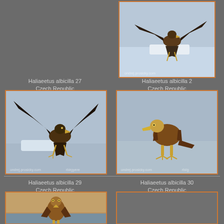[Figure (photo): Eagle (Haliaeetus albicilla) landing on ice with wings spread, Czech Republic]
Haliaeetus albicilla 27
Czech Republic
[Figure (photo): Eagle (Haliaeetus albicilla 27) landing on ice with wings spread, Czech Republic]
Haliaeetus albicilla 2
Czech Republic
[Figure (photo): Eagle (Haliaeetus albicilla 2) standing on ice, Czech Republic]
Haliaeetus albicilla 29
Czech Republic
[Figure (photo): Eagle (Haliaeetus albicilla 29) standing in water, Czech Republic]
Haliaeetus albicilla 30
Czech Republic
[Figure (photo): Haliaeetus albicilla 30, Czech Republic - partial/empty photo]